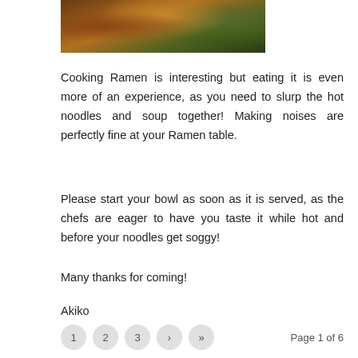[Figure (photo): Photo of ramen ingredients including vegetables and bowls, partially visible at top of page]
Cooking Ramen is interesting but eating it is even more of an experience, as you need to slurp the hot noodles and soup together! Making noises are perfectly fine at your Ramen table.
Please start your bowl as soon as it is served, as the chefs are eager to have you taste it while hot and before your noodles get soggy!
Many thanks for coming!
Akiko
1  2  3  ›  »  Page 1 of 6